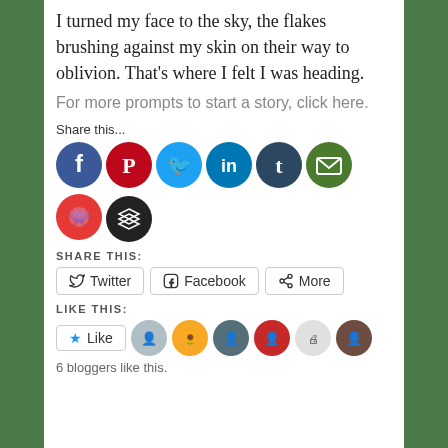I turned my face to the sky, the flakes brushing against my skin on their way to oblivion. That's where I felt I was heading.
For more prompts to start a story, click here.
Share this...
[Figure (infographic): Row of social media share icon circles: Facebook (blue), Pinterest (red), Twitter (light blue), LinkedIn (dark blue), Tumblr (dark navy), Email (green), Reddit (red), and a Buffer/layers icon (dark gray/black)]
SHARE THIS:
Twitter  Facebook  More (share buttons)
LIKE THIS:
Like  [6 blogger avatars]
6 bloggers like this.